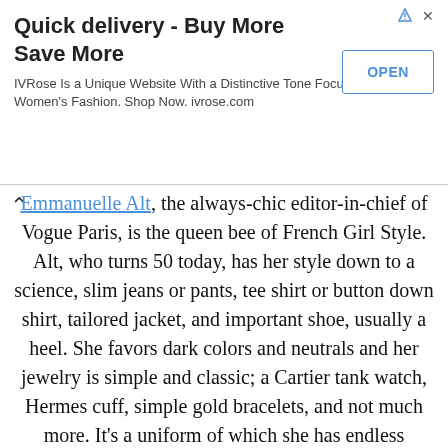[Figure (screenshot): Advertisement banner: 'Quick delivery - Buy More Save More' for IVRose with an OPEN button, ad icon and close button.]
Emmanuelle Alt, the always-chic editor-in-chief of Vogue Paris, is the queen bee of French Girl Style. Alt, who turns 50 today, has her style down to a science, slim jeans or pants, tee shirt or button down shirt, tailored jacket, and important shoe, usually a heel. She favors dark colors and neutrals and her jewelry is simple and classic; a Cartier tank watch, Hermes cuff, simple gold bracelets, and not much more. It's a uniform of which she has endless variations. Despite the simplicity of the formula she always looks impeccable, polished and modern, befitting her position. During show week, while